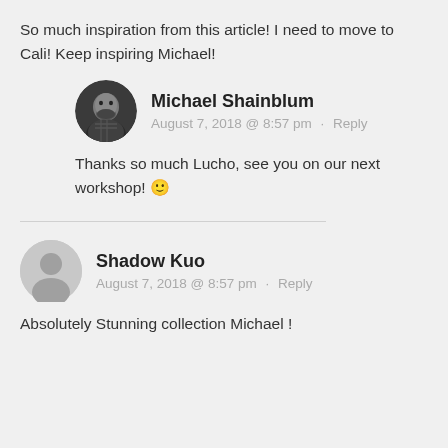So much inspiration from this article! I need to move to Cali! Keep inspiring Michael!
Michael Shainblum
August 7, 2018 @ 8:57 pm · Reply
Thanks so much Lucho, see you on our next workshop! 🙂
Shadow Kuo
August 7, 2018 @ 8:57 pm · Reply
Absolutely Stunning collection Michael !